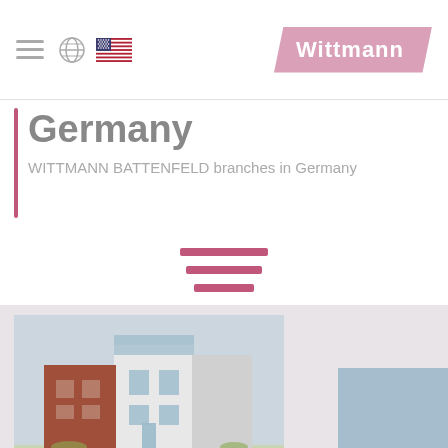Wittmann [navigation header with hamburger menu, globe icon, US flag, and Wittmann logo]
Germany
WITTMANN BATTENFELD branches in Germany
[Figure (photo): Photo of a modern building (WITTMANN BATTENFELD Germany branch office) with brick and white facade, partially overlaid with a light blue card in the bottom right corner. Background is light grey.]